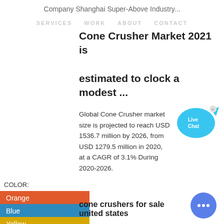Company Shanghai Super-Above Industry...
SERVICES  WORK       ABOUT  CONTACT
Cone Crusher Market 2021 is estimated to clock a modest ...
Global Cone Crusher market size is projected to reach USD 1536.7 million by 2026, from USD 1279.5 million in 2020, at a CAGR of 3.1% During 2020-2026.
[Figure (illustration): Live Chat bubble icon with fish tail, teal/cyan color, showing 'Live Chat' text and a close button]
COLOR:
Orange
Blue
Yellow
cone crushers for sale united states
[Figure (illustration): Round blue chat button with ellipsis dots at bottom right]